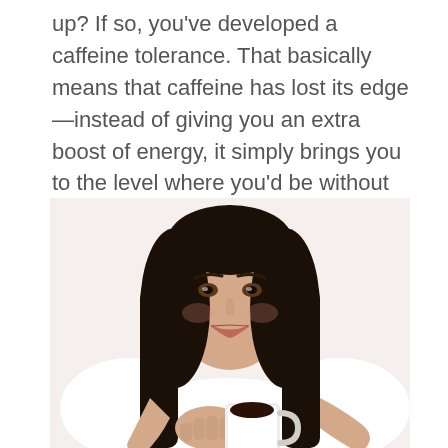up? If so, you've developed a caffeine tolerance. That basically means that caffeine has lost its edge—instead of giving you an extra boost of energy, it simply brings you to the level where you'd be without caffeine. My caffeine conclusion: I have more energy overall without it.
[Figure (photo): A smiling young woman with long dark hair wearing a white top, leaning forward and holding out a white mug of black coffee toward the viewer, against a white background.]